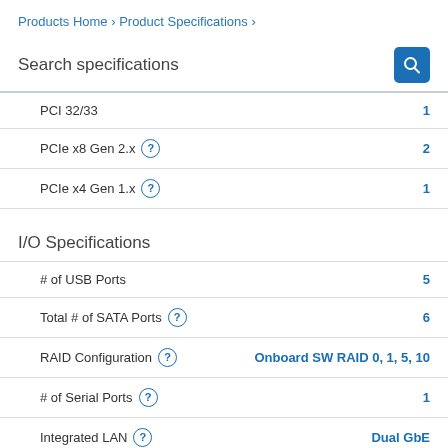Products Home › Product Specifications ›
Search specifications
PCI 32/33 — 1
PCIe x8 Gen 2.x — 2
PCIe x4 Gen 1.x — 1
I/O Specifications
# of USB Ports — 5
Total # of SATA Ports — 6
RAID Configuration — Onboard SW RAID 0, 1, 5, 10
# of Serial Ports — 1
Integrated LAN — Dual GbE